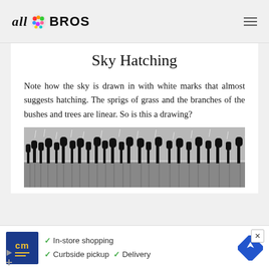all BROS
Sky Hatching
Note how the sky is drawn in with white marks that almost suggests hatching. The sprigs of grass and the branches of the bushes and trees are linear. So is this a drawing?
[Figure (photo): Black and white landscape photograph showing a row of bare trees reflected in water, with a textured sky above]
[Figure (other): Advertisement banner: CM logo with yellow text on blue background, checkmarks listing In-store shopping, Curbside pickup, Delivery, and a blue navigation/directions diamond icon]